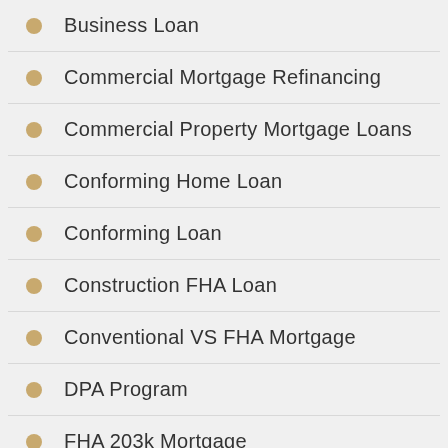Business Loan
Commercial Mortgage Refinancing
Commercial Property Mortgage Loans
Conforming Home Loan
Conforming Loan
Construction FHA Loan
Conventional VS FHA Mortgage
DPA Program
FHA 203k Mortgage